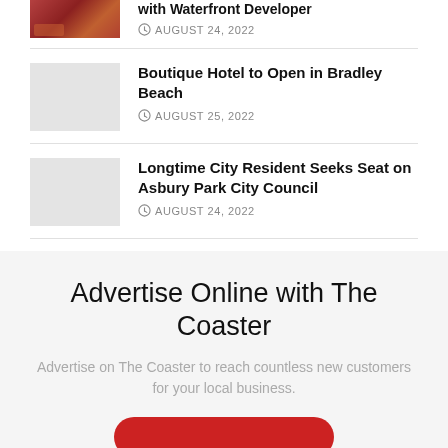[Figure (photo): Partial news article thumbnail photo at top]
AUGUST 24, 2022
Boutique Hotel to Open in Bradley Beach
AUGUST 25, 2022
Longtime City Resident Seeks Seat on Asbury Park City Council
AUGUST 24, 2022
Advertise Online with The Coaster
Advertise on The Coaster to reach countless new customers for your local business.